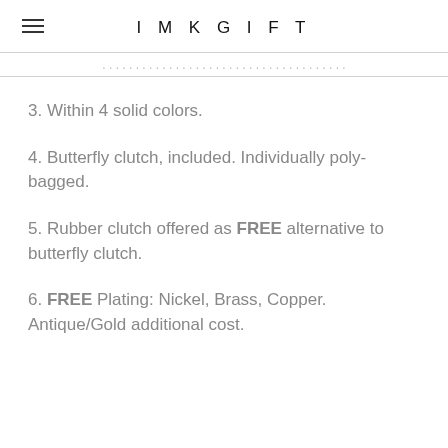IMKGIFT
(partial/truncated text from previous content)
3. Within 4 solid colors.
4. Butterfly clutch, included. Individually poly-bagged.
5. Rubber clutch offered as FREE alternative to butterfly clutch.
6. FREE Plating: Nickel, Brass, Copper. Antique/Gold additional cost.